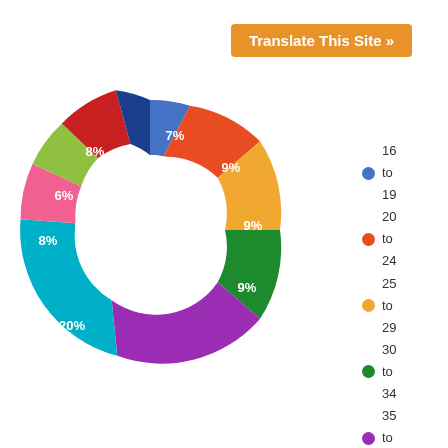[Figure (donut-chart): Age Distribution]
Translate This Site »